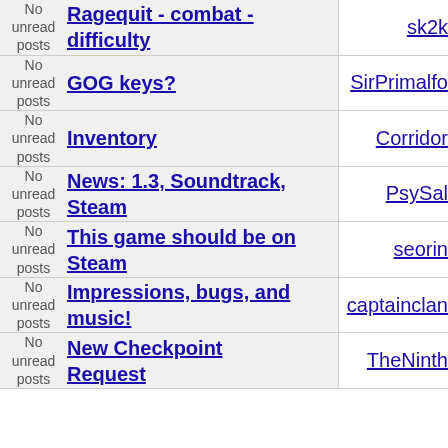| Status | Topic | Author |
| --- | --- | --- |
| No unread posts | Ragequit - combat - difficulty | sk2k |
| No unread posts | GOG keys? | SirPrimalfo |
| No unread posts | Inventory | Corridor |
| No unread posts | News: 1.3, Soundtrack, Steam | PsySal |
| No unread posts | This game should be on Steam | seorin |
| No unread posts | Impressions, bugs, and music! | captainclam |
| No unread posts | New Checkpoint Request | TheNinth |